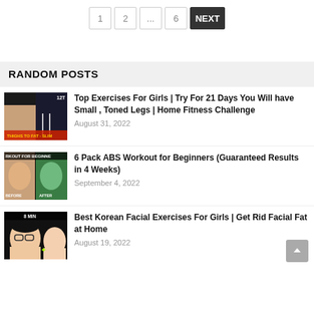Pagination: 1 2 ... 6 NEXT
RANDOM POSTS
[Figure (photo): Thumbnail image for leg exercise video]
Top Exercises For Girls | Try For 21 Days You Will have Small , Toned Legs | Home Fitness Challenge
August 31, 2022
[Figure (photo): Thumbnail image for ABS workout video showing before/after]
6 Pack ABS Workout for Beginners (Guaranteed Results in 4 Weeks)
September 4, 2022
[Figure (photo): Thumbnail image for Korean facial exercises video]
Best Korean Facial Exercises For Girls | Get Rid Facial Fat at Home
August 19, 2022